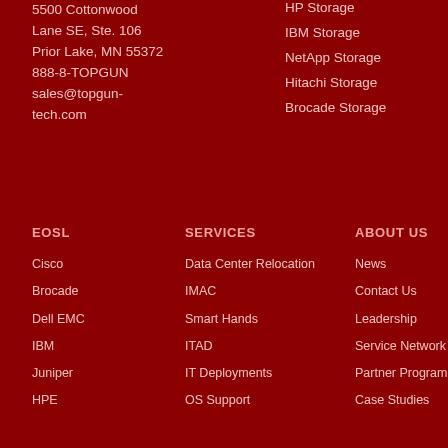5500 Cottonwood Lane SE, Ste. 106
Prior Lake, MN 55372
888-8-TOPGUN
sales@topgun-tech.com
HP Storage
IBM Storage
NetApp Storage
Hitachi Storage
Brocade Storage
EOSL
SERVICES
ABOUT US
Cisco
Brocade
Dell EMC
IBM
Juniper
HPE
Data Center Relocation
IMAC
Smart Hands
ITAD
IT Deployments
OS Support
News
Contact Us
Leadership
Service Network
Partner Program
Case Studies